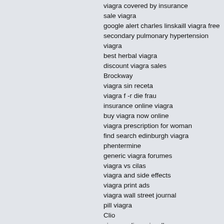viagra covered by insurance
sale viagra
google alert charles linskaill viagra free
secondary pulmonary hypertension viagra
best herbal viagra
discount viagra sales
Brockway
viagra sin receta
viagra f -r die frau
insurance online viagra
buy viagra now online
viagra prescription for woman
find search edinburgh viagra phentermine
generic viagra forumes
viagra vs cilas
viagra and side effects
viagra print ads
viagra wall street journal
pill viagra
Clio
viagra online miscellaneous
canada generic in sold viagra